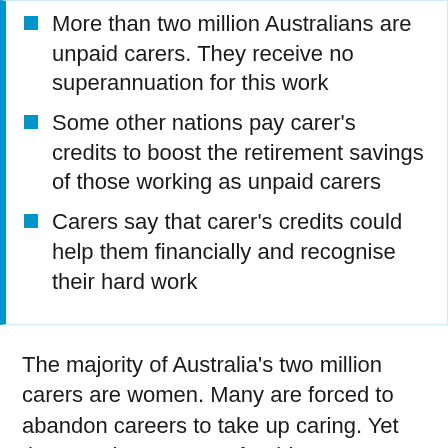More than two million Australians are unpaid carers. They receive no superannuation for this work
Some other nations pay carer's credits to boost the retirement savings of those working as unpaid carers
Carers say that carer's credits could help them financially and recognise their hard work
The majority of Australia's two million carers are women. Many are forced to abandon careers to take up caring. Yet they receive no super for this